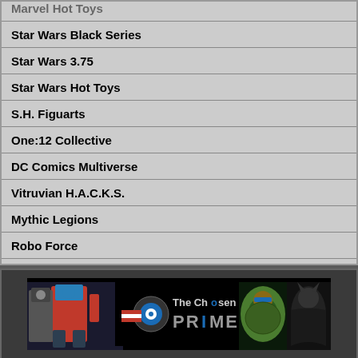Star Wars Black Series
Star Wars 3.75
Star Wars Hot Toys
S.H. Figuarts
One:12 Collective
DC Comics Multiverse
Vitruvian H.A.C.K.S.
Mythic Legions
Robo Force
[Figure (illustration): The Chosen Prime banner with action figures including Optimus Prime, Teenage Mutant Ninja Turtle, and Batman on a black background]
All times are GMT -4. The time now is 11:45 AM.